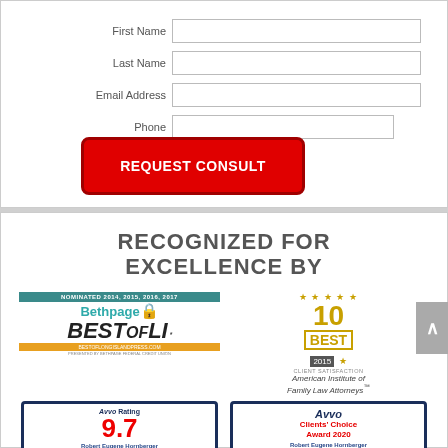First Name
Last Name
Email Address
Phone
REQUEST CONSULT
RECOGNIZED FOR EXCELLENCE BY
[Figure (logo): Bethpage Best of LI logo with 'Nominated 2014, 2015, 2016, 2017' teal banner]
[Figure (logo): 10 Best 2015 Client Satisfaction - American Institute of Family Law Attorneys award badge with gold stars]
[Figure (logo): Avvo Rating 9.7 for Robert Eugene Hornberger]
[Figure (logo): Avvo Clients' Choice Award 2020 for Robert Eugene Hornberger]